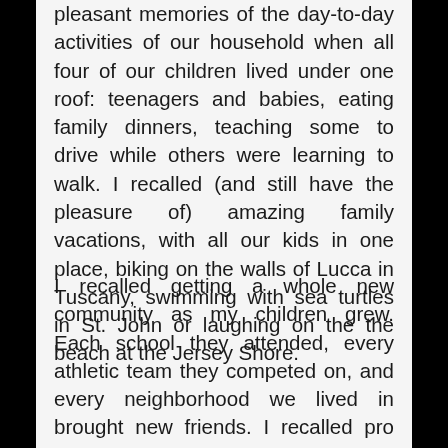pleasant memories of the day-to-day activities of our household when all four of our children lived under one roof: teenagers and babies, eating family dinners, teaching some to drive while others were learning to walk. I recalled (and still have the pleasure of) amazing family vacations, with all our kids in one place, biking on the walls of Lucca in Tuscany, swimming with sea turtles in St. John or laughing on the the beach at the Jersey Shore.
I recalled getting a whole new community as my children grew. Each school they attended, every athletic team they competed on, and every neighborhood we lived in brought new friends. I recalled pro bono legal work for abused and neglected children, chairing fundraisers to build new school buildings and